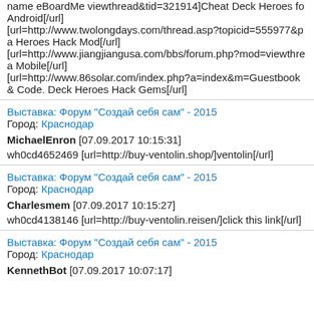name eBoardMe viewthread&tid=321914]Cheat Deck Heroes fo Android[/url]
[url=http://www.twolongdays.com/thread.asp?topicid=555977&pa Heroes Hack Mod[/url]
[url=http://www.jiangjiangusa.com/bbs/forum.php?mod=viewthrea Mobile[/url]
[url=http://www.86solar.com/index.php?a=index&m=Guestbook& Code. Deck Heroes Hack Gems[/url]
Выставка: Форум "Создай себя сам" - 2015
Город: Краснодар
MichaelEnron [07.09.2017 10:15:31]
wh0cd4652469 [url=http://buy-ventolin.shop/]ventolin[/url]
Выставка: Форум "Создай себя сам" - 2015
Город: Краснодар
Charlesmem [07.09.2017 10:15:27]
wh0cd4138146 [url=http://buy-ventolin.reisen/]click this link[/url]
Выставка: Форум "Создай себя сам" - 2015
Город: Краснодар
KennethBot [07.09.2017 10:07:17]